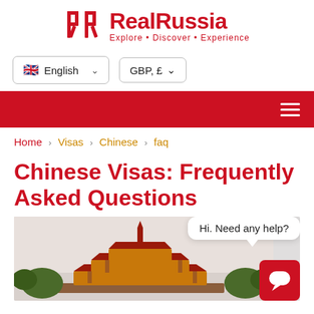[Figure (logo): Real Russia logo with two mirrored R letters and tagline 'Explore • Discover • Experience' in red]
[Figure (screenshot): Language selector dropdown showing English with UK flag, and currency selector showing GBP £]
Navigation bar with hamburger menu icon
Home > Visas > Chinese > faq
Chinese Visas: Frequently Asked Questions
[Figure (photo): Photo of a Chinese temple building (appears to be the Temple of Heaven in Beijing) with a chat widget overlay showing 'Hi. Need any help?']